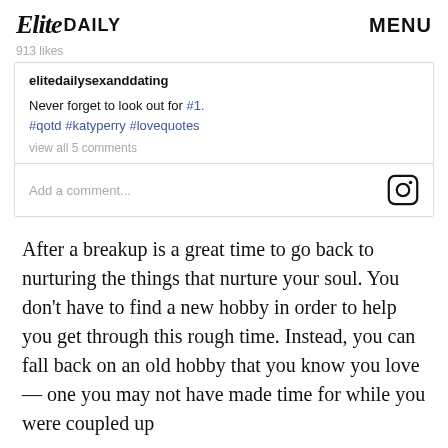Elite DAILY  MENU
913 likes
elitedailysexanddating

Never forget to look out for #1.
#qotd #katyperry #lovequotes
view all 5 comments

Add a comment...
After a breakup is a great time to go back to nurturing the things that nurture your soul. You don't have to find a new hobby in order to help you get through this rough time. Instead, you can fall back on an old hobby that you know you love — one you may not have made time for while you were coupled up...